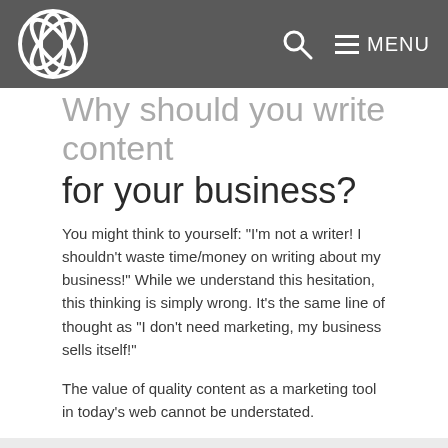MENU
Why should you write content for your business?
You might think to yourself: "I'm not a writer! I shouldn't waste time/money on writing about my business!" While we understand this hesitation, this thinking is simply wrong. It's the same line of thought as "I don't need marketing, my business sells itself!"
The value of quality content as a marketing tool in today's web cannot be understated.
Having a regular stream of useful content attached to your business provides you with the following